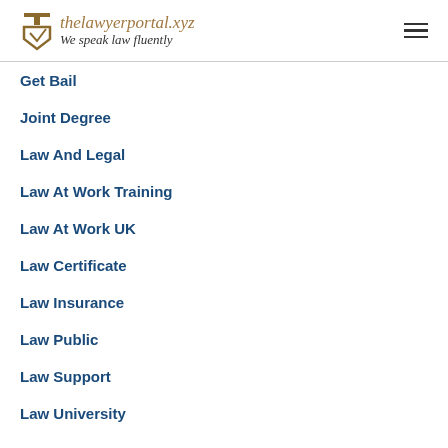thelawyerportal.xyz We speak law fluently
Get Bail
Joint Degree
Law And Legal
Law At Work Training
Law At Work UK
Law Certificate
Law Insurance
Law Public
Law Support
Law University